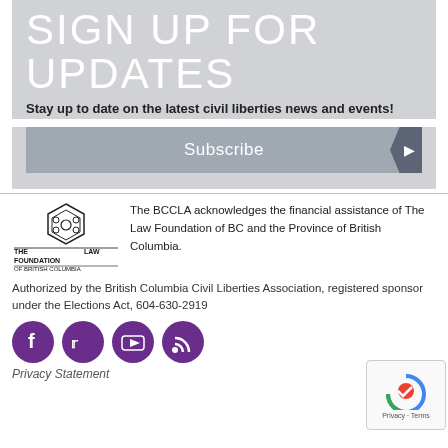SIGN UP FOR UPDATES
Stay up to date on the latest civil liberties news and events!
[Figure (screenshot): Subscribe button with arrow]
[Figure (logo): The Law Foundation of British Columbia logo]
The BCCLA acknowledges the financial assistance of The Law Foundation of BC and the Province of British Columbia.
Authorized by the British Columbia Civil Liberties Association, registered sponsor under the Elections Act, 604-630-2919
[Figure (infographic): Social media icons: Facebook, Twitter, YouTube, RSS]
Privacy Statement